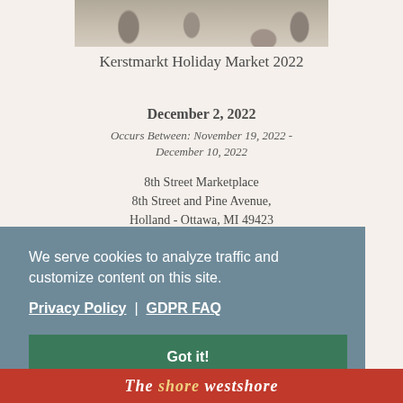[Figure (photo): Partial photo of people at a marketplace/market event, showing legs and furniture from above]
Kerstmarkt Holiday Market 2022
December 2, 2022
Occurs Between: November 19, 2022 - December 10, 2022
8th Street Marketplace
8th Street and Pine Avenue,
Holland - Ottawa, MI 49423
We serve cookies to analyze traffic and customize content on this site.
Privacy Policy | GDPR FAQ
Got it!
[Figure (photo): Bottom banner showing The Shore Westshore magazine/publication logo with red decorative border pattern]